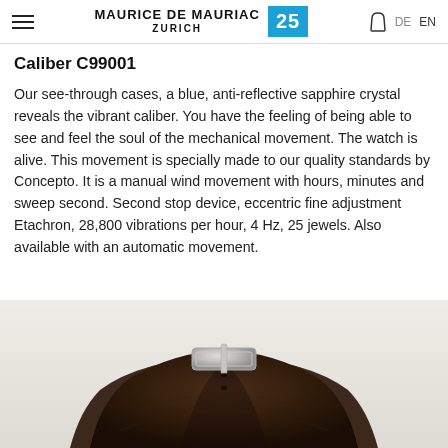MAURICE DE MAURIAC ZURICH 25 DE EN
Caliber C99001
Our see-through cases, a blue, anti-reflective sapphire crystal reveals the vibrant caliber. You have the feeling of being able to see and feel the soul of the mechanical movement. The watch is alive. This movement is specially made to our quality standards by Concepto. It is a manual wind movement with hours, minutes and sweep second. Second stop device, eccentric fine adjustment Etachron, 28,800 vibrations per hour, 4 Hz, 25 jewels. Also available with an automatic movement.
[Figure (photo): Close-up photo of a dark brown leather watch strap with a silver buckle, viewed from above against a white/light background. Only the strap and buckle area are visible, cropped.]